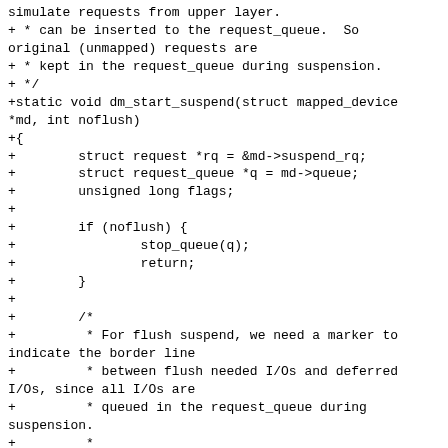simulate requests from upper layer.
+ * can be inserted to the request_queue.  So original (unmapped) requests are
+ * kept in the request_queue during suspension.
+ */
+static void dm_start_suspend(struct mapped_device *md, int noflush)
+{
+        struct request *rq = &md->suspend_rq;
+        struct request_queue *q = md->queue;
+        unsigned long flags;
+
+        if (noflush) {
+                stop_queue(q);
+                return;
+        }
+
+        /*
+         * For flush suspend, we need a marker to indicate the border line
+         * between flush needed I/Os and deferred I/Os, since all I/Os are
+         * queued in the request_queue during suspension.
+         *
+         * This marker must be inserted after setting DMF_BLOCK_IO,
+         * because dm_prep_fn() considers no DMF_BLOCK_IO to be
+         * a suspend interruption.
+         */